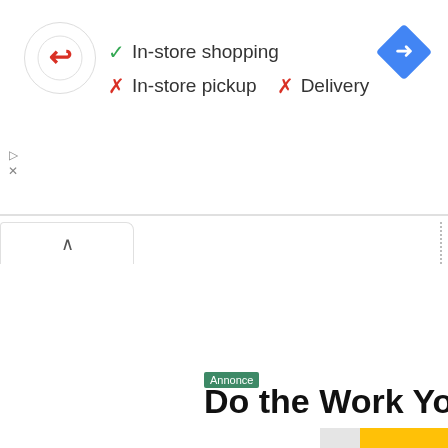[Figure (logo): Red arrow logo in a circle with white/light border]
✓ In-store shopping
✗ In-store pickup   ✗ Delivery
[Figure (illustration): Blue diamond navigation/directions icon in top right corner]
[Figure (screenshot): Screenshot showing a partial web page with collapse tab, dotted divider, Annonce badge, 'Do the Work Yourself' heading, yellow circular mechanical parts icon, and 'Self-Service Options. Cat' text]
Annonce
Do the Work Yourself
[Figure (illustration): Yellow circle with white outline illustration of belt/pulley mechanical parts on grey background]
Self-Service Options. Cat